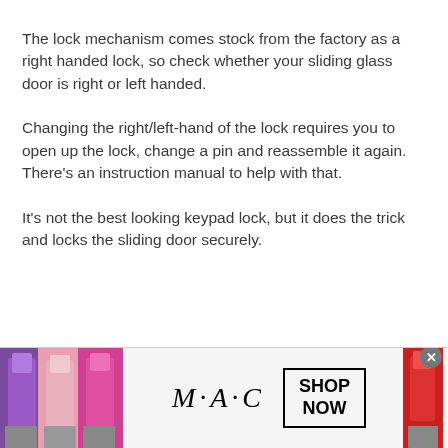The lock mechanism comes stock from the factory as a right handed lock, so check whether your sliding glass door is right or left handed.
Changing the right/left-hand of the lock requires you to open up the lock, change a pin and reassemble it again. There’s an instruction manual to help with that.
It's not the best looking keypad lock, but it does the trick and locks the sliding door securely.
[Figure (other): Advertisement banner for M·A·C cosmetics showing lipsticks, MAC logo, and a SHOP NOW button]